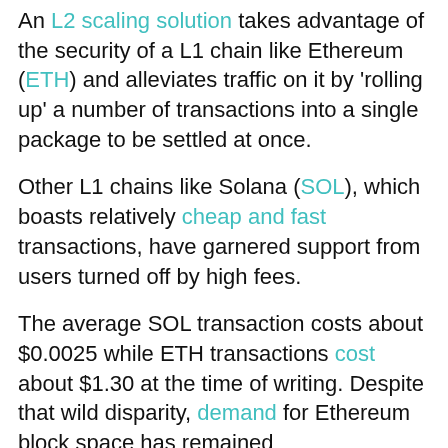An L2 scaling solution takes advantage of the security of a L1 chain like Ethereum (ETH) and alleviates traffic on it by 'rolling up' a number of transactions into a single package to be settled at once.
Other L1 chains like Solana (SOL), which boasts relatively cheap and fast transactions, have garnered support from users turned off by high fees.
The average SOL transaction costs about $0.0025 while ETH transactions cost about $1.30 at the time of writing. Despite that wild disparity, demand for Ethereum block space has remained overwhelmingly dominant as its $73.89 billion total value locked (TVL) outweighs Solana's $4.24 billion according to DeFi Llama blockchain tracker. Additionally, Solana has been plagued with reliability